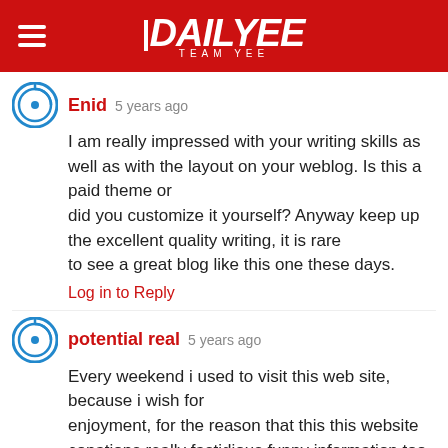DAILYEE — TEAM YEE
Enid  5 years ago
I am really impressed with your writing skills as well as with the layout on your weblog. Is this a paid theme or did you customize it yourself? Anyway keep up the excellent quality writing, it is rare to see a great blog like this one these days.
Log in to Reply
potential real  5 years ago
Every weekend i used to visit this web site, because i wish for enjoyment, for the reason that this this website conations really fastidious funny information too.
Log in to Reply